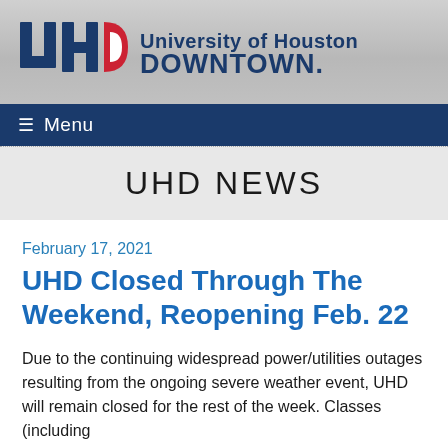[Figure (logo): University of Houston Downtown (UHD) logo with blue and red letters UHD and text University of Houston DOWNTOWN]
☰ Menu
UHD NEWS
February 17, 2021
UHD Closed Through The Weekend, Reopening Feb. 22
Due to the continuing widespread power/utilities outages resulting from the ongoing severe weather event, UHD will remain closed for the rest of the week. Classes (including